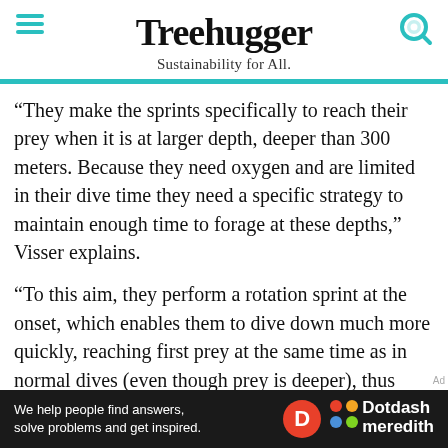Treehugger
Sustainability for All.
“They make the sprints specifically to reach their prey when it is at larger depth, deeper than 300 meters. Because they need oxygen and are limited in their dive time they need a specific strategy to maintain enough time to forage at these depths,” Visser explains.
“To this aim, they perform a rotation sprint at the onset, which enables them to dive down much more quickly, reaching first prey at the same time as in normal dives (even though prey is deeper), thus leaving them enough time to forage at those larger depths.”
During the day, the dense group of prey—called the dee
[Figure (other): Dotdash Meredith advertisement banner: dark background with text 'We help people find answers, solve problems and get inspired.' alongside the Dotdash Meredith logo.]